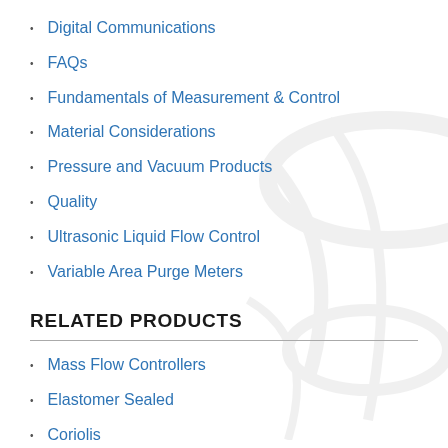Digital Communications
FAQs
Fundamentals of Measurement & Control
Material Considerations
Pressure and Vacuum Products
Quality
Ultrasonic Liquid Flow Control
Variable Area Purge Meters
RELATED PRODUCTS
Mass Flow Controllers
Elastomer Sealed
Coriolis